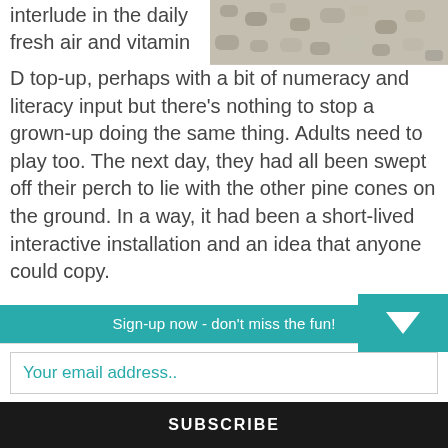interlude in the daily fresh air and vitamin D top-up, perhaps with a bit of numeracy and literacy input but there's nothing to stop a grown-up doing the same thing. Adults need to play too. The next day, they had all been swept off their perch to lie with the other pine cones on the ground. In a way, it had been a short-lived interactive installation and an idea that anyone could copy.
[Figure (photo): Close-up photo of pine cones or gravel texture, gray and beige tones]
From time to time when walking for exercise, I hear the atonal singing man. Usually, he continues his offering with a free concert on a tuneless penny whistle. Beca
Sign-up now - don't miss the fun!
Your email address..
SUBSCRIBE